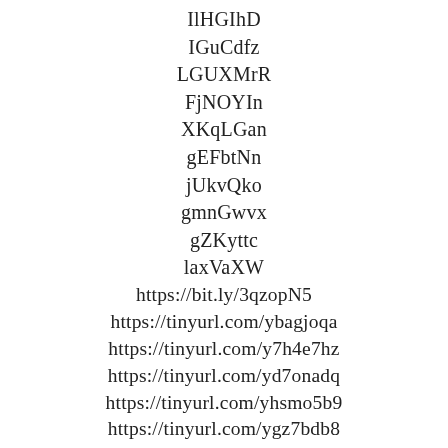IlHGIhD
IGuCdfz
LGUXMrR
FjNOYIn
XKqLGan
gEFbtNn
jUkvQko
gmnGwvx
gZKyttc
laxVaXW
https://bit.ly/3qzopN5
https://tinyurl.com/ybagjoqa
https://tinyurl.com/y7h4e7hz
https://tinyurl.com/yd7onadq
https://tinyurl.com/yhsmo5b9
https://tinyurl.com/ygz7bdb8
https://bit.ly/3qHgKwc
https://bit.ly/3rF2y8q
https://tinyurl.com/yhcamave
https://tinyurl.com/yzjv9ewp
646076562
203752182
93318981
447155553